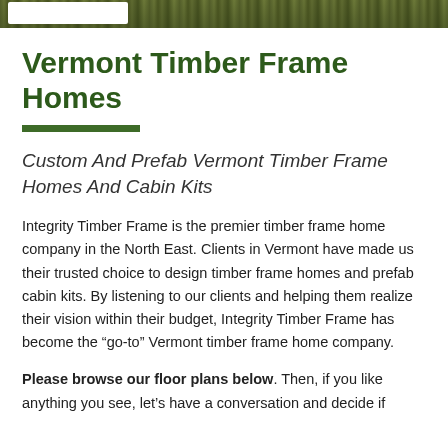[Figure (photo): Dark green/brown textured nature/forest strip at top of page, with a white search bar overlay on the left]
Vermont Timber Frame Homes
Custom And Prefab Vermont Timber Frame Homes And Cabin Kits
Integrity Timber Frame is the premier timber frame home company in the North East. Clients in Vermont have made us their trusted choice to design timber frame homes and prefab cabin kits. By listening to our clients and helping them realize their vision within their budget, Integrity Timber Frame has become the “go-to” Vermont timber frame home company.
Please browse our floor plans below. Then, if you like anything you see, let’s have a conversation and decide if